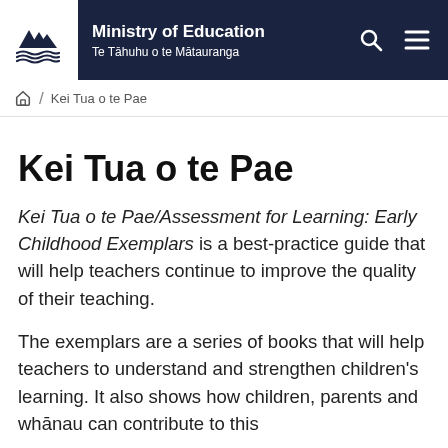Ministry of Education Te Tāhuhu o te Mātauranga
Kei Tua o te Pae
Kei Tua o te Pae
Kei Tua o te Pae/Assessment for Learning: Early Childhood Exemplars is a best-practice guide that will help teachers continue to improve the quality of their teaching.
The exemplars are a series of books that will help teachers to understand and strengthen children's learning. It also shows how children, parents and whānau can contribute to this